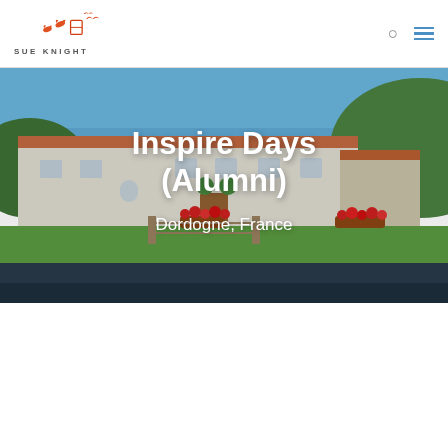SUE KNIGHT
[Figure (photo): Exterior photo of a large French country estate building with white/cream walls and terracotta roof tiles, blue sky, green lawn, and flowering plants. Located in Dordogne, France.]
Inspire Days (Alumni)
Dordogne, France